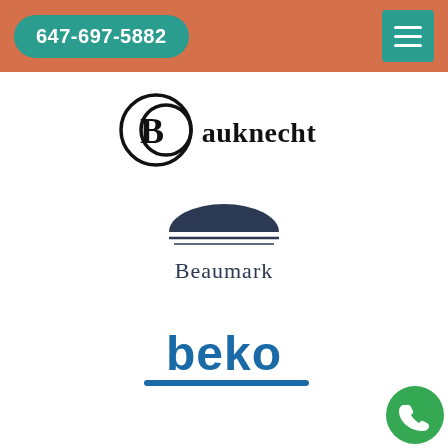647-697-5882
[Figure (logo): Bauknecht brand logo — circular B emblem with 'Bauknecht' bold serif text]
[Figure (logo): Beaumark brand logo — dark navy dome/semicircle shape with wavy lines above text 'Beaumark']
[Figure (logo): beko brand logo — blue bold lowercase 'beko' text with blue underline stroke]
[Figure (logo): Partial logo visible at bottom of page, cut off]